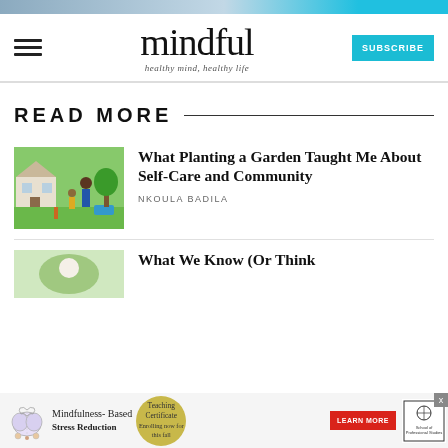[Figure (photo): Top advertisement banner image with outdoor scene]
mindful — healthy mind, healthy life
READ MORE
[Figure (photo): Father and child in a garden outdoors]
What Planting a Garden Taught Me About Self-Care and Community
NKOULA BADILA
[Figure (photo): Second article thumbnail image]
What We Know (Or Think
[Figure (infographic): Bottom advertisement banner for Mindfulness-Based Stress Reduction Teaching Certificate]